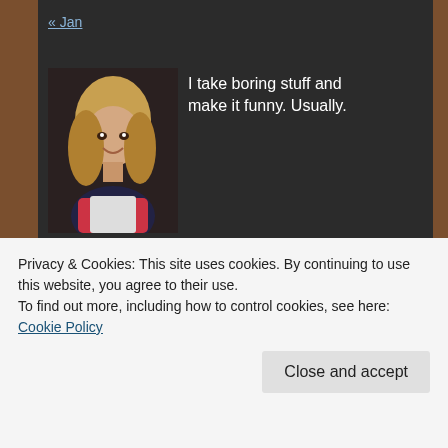« Jan
[Figure (photo): Profile photo of a woman with blonde hair smiling]
I take boring stuff and make it funny. Usually.
Archives
January 2016
March 2015
February 2015
Privacy & Cookies: This site uses cookies. By continuing to use this website, you agree to their use.
To find out more, including how to control cookies, see here: Cookie Policy
Close and accept
August 2014